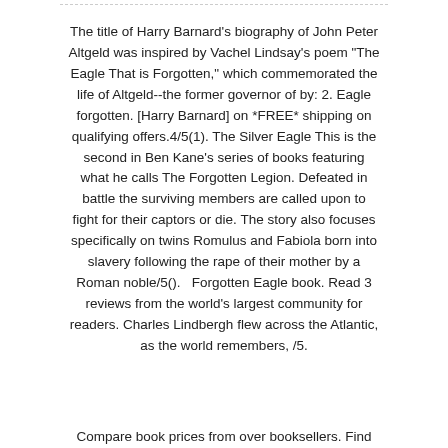The title of Harry Barnard's biography of John Peter Altgeld was inspired by Vachel Lindsay's poem "The Eagle That is Forgotten," which commemorated the life of Altgeld--the former governor of by: 2. Eagle forgotten. [Harry Barnard] on *FREE* shipping on qualifying offers.4/5(1). The Silver Eagle This is the second in Ben Kane's series of books featuring what he calls The Forgotten Legion. Defeated in battle the surviving members are called upon to fight for their captors or die. The story also focuses specifically on twins Romulus and Fabiola born into slavery following the rape of their mother by a Roman noble/5().   Forgotten Eagle book. Read 3 reviews from the world's largest community for readers. Charles Lindbergh flew across the Atlantic, as the world remembers, /5.
Compare book prices from over booksellers. Find...